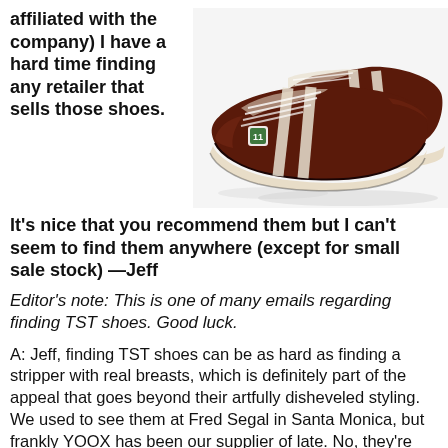affiliated with the company) I have a hard time finding any retailer that sells those shoes.
[Figure (photo): Photo of dark brown/maroon leather sneakers with white stripes and white laces on white background]
It's nice that you recommend them but I can't seem to find them anywhere (except for small sale stock) —Jeff
Editor's note: This is one of many emails regarding finding TST shoes. Good luck.
A: Jeff, finding TST shoes can be as hard as finding a stripper with real breasts, which is definitely part of the appeal that goes beyond their artfully disheveled styling. We used to see them at Fred Segal in Santa Monica, but frankly YOOX has been our supplier of late. No, they're not going to be the latest versions but YOOX has lots of options at discounted prices.
If you're looking for the 2011 F/W collection — which is terrific, BTW — we've discovered that part of it is going to